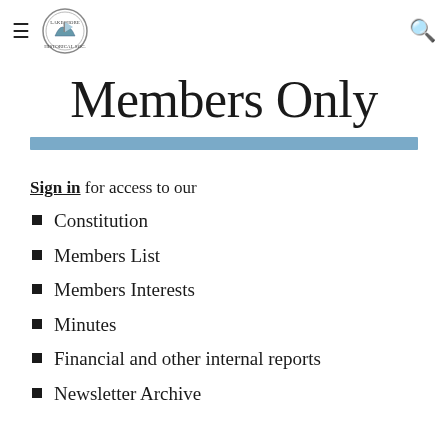≡ [logo] [search icon]
Members Only
Sign in for access to our
Constitution
Members List
Members Interests
Minutes
Financial and other internal reports
Newsletter Archive